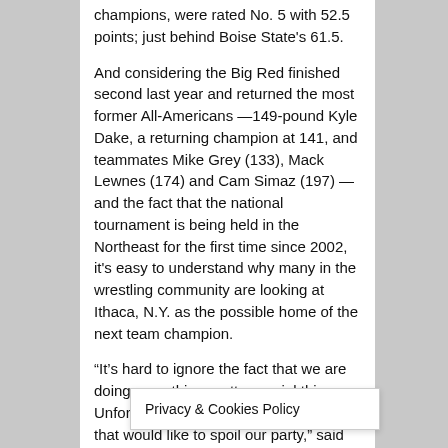champions, were rated No. 5 with 52.5 points; just behind Boise State's 61.5.
And considering the Big Red finished second last year and returned the most former All-Americans —149-pound Kyle Dake, a returning champion at 141, and teammates Mike Grey (133), Mack Lewnes (174) and Cam Simaz (197) — and the fact that the national tournament is being held in the Northeast for the first time since 2002, it's easy to understand why many in the wrestling community are looking at Ithaca, N.Y. as the possible home of the next team champion.
“It’s hard to ignore the fact that we are doing something pretty special this year. Unfortunately, there are a few teams that would like to spoil our party,” said Koll, whose team was nearly perfect in dual competition; losing only to Lehigh.
“Early in the year, we thought we just had to wrestle up to our ability, now with Penn State adding (2010 national runner-up) Long to its line-up and Iowa coming on strong and who knows who else, we might have to wrestle over our heads in Philadelphia.”
And both Cornell and Penn State must deal with something unique this year: the hype that comes with high expectations from
Privacy & Cookies Policy